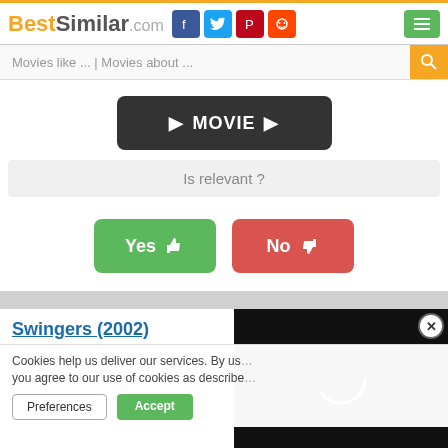BestSimilar.com [social icons] [menu]
Movies like ... | Movies about ...
[Figure (screenshot): Dark rounded button with play arrows and text MOVIE]
Is relevant ?
[Figure (other): Green Yes thumbs-up button and Red No thumbs-down button]
Swingers (2002)
Cookies help us deliver our services. By us... you agree to our use of cookies as describe...
Preferences  Accept